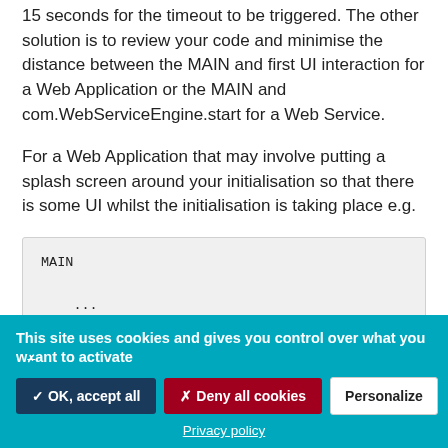15 seconds for the timeout to be triggered.  The other solution is to review your code and minimise the distance between the MAIN and first UI interaction for a Web Application or the MAIN and com.WebServiceEngine.start for a Web Service.
For a Web Application that may involve putting a splash screen around your initialisation so that there is some UI whilst the initialisation is taking place e.g.
This site uses cookies and gives you control over what you want to activate
✓ OK, accept all
✗ Deny all cookies
Personalize
Privacy policy